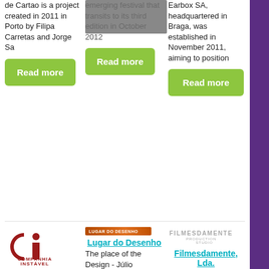de Cartao is a project created in 2011 in Porto by Filipa Carretas and Jorge Sa
[Figure (other): Read more button (green)]
emerging festival that transits to its third edition in October 2012
[Figure (other): Read more button (green)]
Earbox SA, headquartered in Braga, was established in November 2011, aiming to position
[Figure (other): Read more button (green)]
[Figure (logo): Companhia Instavel logo - red CI symbol with red text]
Companhia Instável
The Companhia
[Figure (logo): Lugar do Desenho logo bar - orange/brown horizontal bar with white text]
Lugar do Desenho
The place of the Design - Júlio Resende
[Figure (logo): Filmesdamente Production Studio logo - gray text logo]
Filmesdamente, Lda.
Filmesdamente LDA was born in Oporto in 2010,